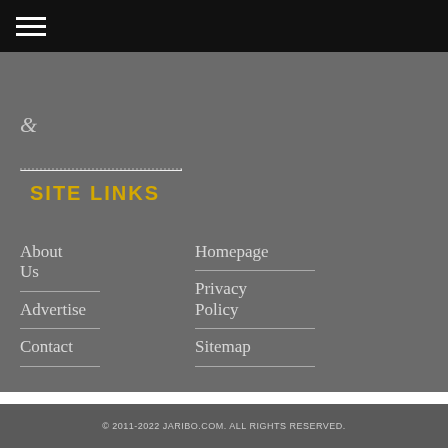☰
[Figure (logo): Decorative ampersand icon]
SITE LINKS
About Us
Homepage
Advertise
Privacy Policy
Contact
Sitemap
© 2011-2022 JARIBO.COM. ALL RIGHTS RESERVED.